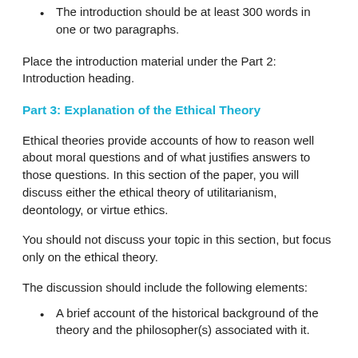The introduction should be at least 300 words in one or two paragraphs.
Place the introduction material under the Part 2: Introduction heading.
Part 3: Explanation of the Ethical Theory
Ethical theories provide accounts of how to reason well about moral questions and of what justifies answers to those questions. In this section of the paper, you will discuss either the ethical theory of utilitarianism, deontology, or virtue ethics.
You should not discuss your topic in this section, but focus only on the ethical theory.
The discussion should include the following elements:
A brief account of the historical background of the theory and the philosopher(s) associated with it.